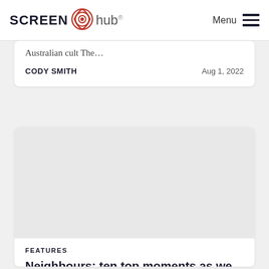SCREEN hub Menu
Australian cult The…
CODY SMITH
Aug 1, 2022
[Figure (photo): Article image placeholder (light grey rectangle)]
FEATURES
Neighbours: ten top moments as we rack off from Ramsay Street